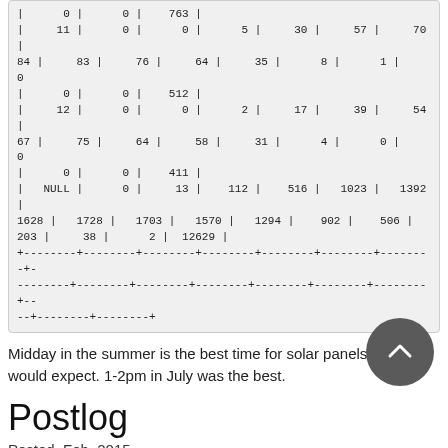| 0 | 0 | 763 |
| 11 | 0 | 0 | 5 | 30 | 57 | 70 |
84 | 83 | 76 | 64 | 35 | 8 | 1 | 0
| 0 | 0 | 512 |
| 12 | 0 | 0 | 2 | 17 | 39 | 54 |
67 | 75 | 64 | 58 | 31 | 4 | 0 | 0
| 0 | 0 | 411 |
| NULL | 0 | 13 | 112 | 516 | 1023 | 1392 |
1628 | 1728 | 1703 | 1570 | 1294 | 902 | 506 |
203 | 38 | 2 | 12629 |
+--------+--------+--------+--------+--------+--------+--------+--------+--------+--------+--------+----
----+--------+--------+--------+--------+--------+---
--+--------+--------+
Midday in the summer is the best time for solar panels, as you would expect. 1-2pm in July was the best.
Postlog
Posted, Feb. 2015
See Also